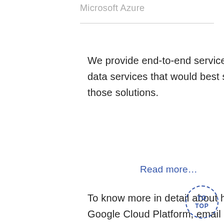Microsoft Azure
We provide end-to-end services that help organizations identify the AWS data services that would best suit their requirements, and then build on those solutions.
Read more…
To know more in detail about how Hoffensoft can help you with Google Cloud Platform, email at